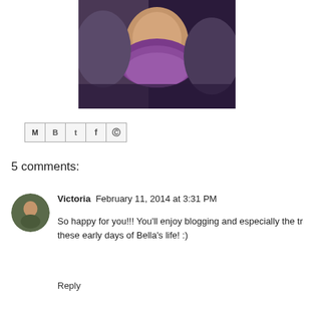[Figure (photo): Photo of two adults holding a newborn baby wrapped in a purple fluffy wrap]
[Figure (infographic): Social sharing icons: Email (M), Blogger (B), Twitter (t), Facebook (f), Pinterest (p)]
5 comments:
Victoria  February 11, 2014 at 3:31 PM
So happy for you!!! You'll enjoy blogging and especially the tr these early days of Bella's life! :)
Reply